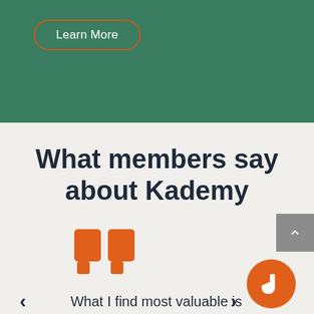[Figure (screenshot): Green banner section with a 'Learn More' button outlined in orange-brown on a dark green background]
What members say about Kademy
[Figure (illustration): Large orange closing double-quotation mark decorative element]
What I find most valuable is